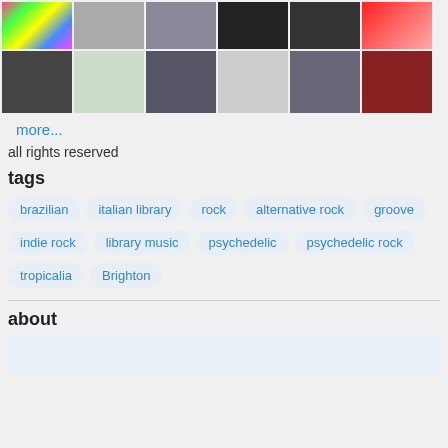[Figure (photo): Grid of 12 artist/user profile photos in two rows]
more...
all rights reserved
tags
brazilian
italian library
rock
alternative rock
groove
indie rock
library music
psychedelic
psychedelic rock
tropicalia
Brighton
about